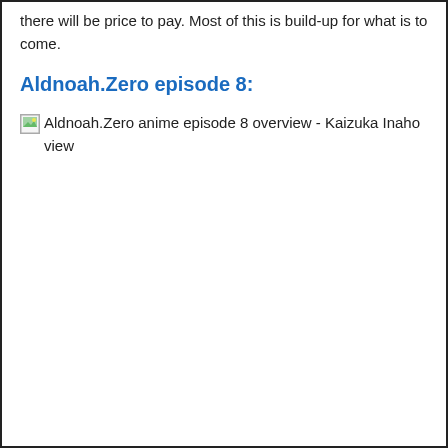there will be price to pay. Most of this is build-up for what is to come.
Aldnoah.Zero episode 8:
[Figure (photo): Broken image placeholder with alt text: Aldnoah.Zero anime episode 8 overview - Kaizuka Inaho view]